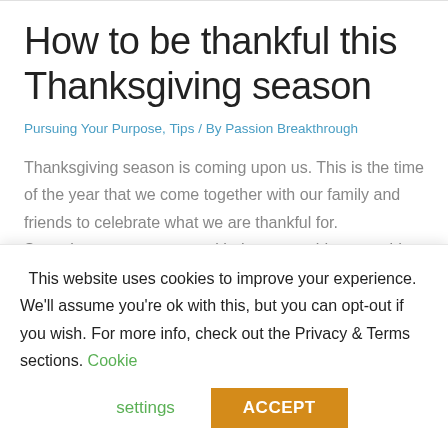How to be thankful this Thanksgiving season
Pursuing Your Purpose, Tips / By Passion Breakthrough
Thanksgiving season is coming upon us. This is the time of the year that we come together with our family and friends to celebrate what we are thankful for. Sometimes, we come up with the same old, same old… same general list of things we are thankful for. We often become entitled for what we …
This website uses cookies to improve your experience. We'll assume you're ok with this, but you can opt-out if you wish. For more info, check out the Privacy & Terms sections. Cookie settings ACCEPT